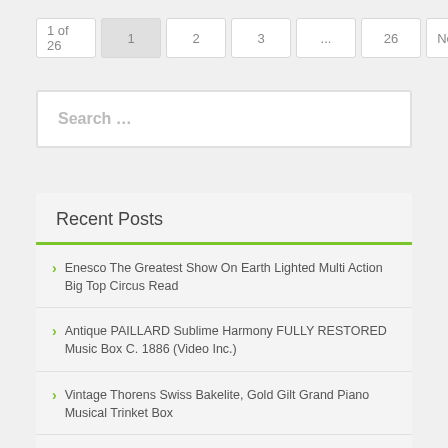1 of 26  1  2  3  ...  26  Next »
Search ...
Recent Posts
Enesco The Greatest Show On Earth Lighted Multi Action Big Top Circus Read
Antique PAILLARD Sublime Harmony FULLY RESTORED Music Box C. 1886 (Video Inc.)
Vintage Thorens Swiss Bakelite, Gold Gilt Grand Piano Musical Trinket Box
Where's The Fire Enesco Deluxe Illuminated Action